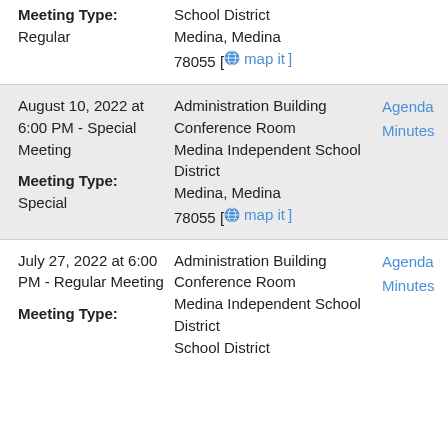Meeting Type: Regular | School District Medina, Medina 78055 [map it]
August 10, 2022 at 6:00 PM - Special Meeting | Meeting Type: Special | Administration Building Conference Room Medina Independent School District Medina, Medina 78055 [map it] | Agenda Minutes
July 27, 2022 at 6:00 PM - Regular Meeting | Meeting Type: | Administration Building Conference Room Medina Independent School District | Agenda Minutes